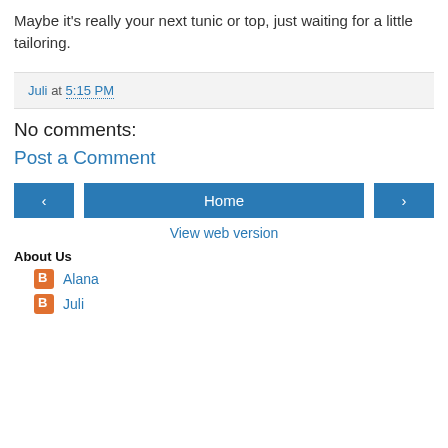Maybe it's really your next tunic or top, just waiting for a little tailoring.
Juli at 5:15 PM
No comments:
Post a Comment
< Home >
View web version
About Us
Alana
Juli